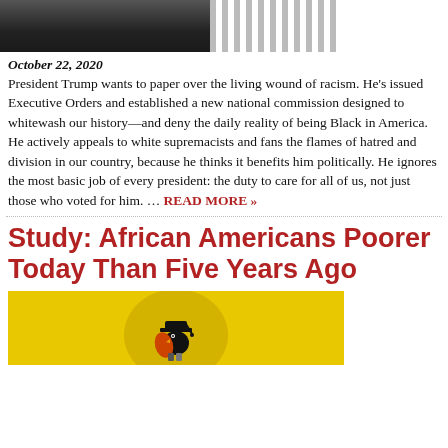[Figure (photo): Partial photo of a person in a suit with striped tie, dark background, cropped at the top of the page]
October 22, 2020
President Trump wants to paper over the living wound of racism. He's issued Executive Orders and established a new national commission designed to whitewash our history—and deny the daily reality of being Black in America. He actively appeals to white supremacists and fans the flames of hatred and division in our country, because he thinks it benefits him politically. He ignores the most basic job of every president: the duty to care for all of us, not just those who voted for him. … READ MORE »
Study: African Americans Poorer Today Than Five Years Ago
[Figure (illustration): Illustration on yellow background showing a bird wearing a graduation cap, sitting on top of books or briefcase, with an orange wing]